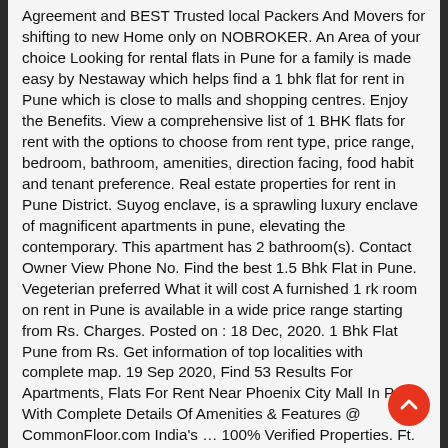Agreement and BEST Trusted local Packers And Movers for shifting to new Home only on NOBROKER. An Area of your choice Looking for rental flats in Pune for a family is made easy by Nestaway which helps find a 1 bhk flat for rent in Pune which is close to malls and shopping centres. Enjoy the Benefits. View a comprehensive list of 1 BHK flats for rent with the options to choose from rent type, price range, bedroom, bathroom, amenities, direction facing, food habit and tenant preference. Real estate properties for rent in Pune District. Suyog enclave, is a sprawling luxury enclave of magnificent apartments in pune, elevating the contemporary. This apartment has 2 bathroom(s). Contact Owner View Phone No. Find the best 1.5 Bhk Flat in Pune. Vegeterian preferred What it will cost A furnished 1 rk room on rent in Pune is available in a wide price range starting from Rs. Charges. Posted on : 18 Dec, 2020. 1 Bhk Flat Pune from Rs. Get information of top localities with complete map. 19 Sep 2020, Find 53 Results For Apartments, Flats For Rent Near Phoenix City Mall In Pune With Complete Details Of Amenities & Features @ CommonFloor.com India's ... 100% Verified Properties. Ft. The carpet area is 590 sq. Find the best 1 Bhk Flat On Rent in Pune. 1 bhk available for rent in